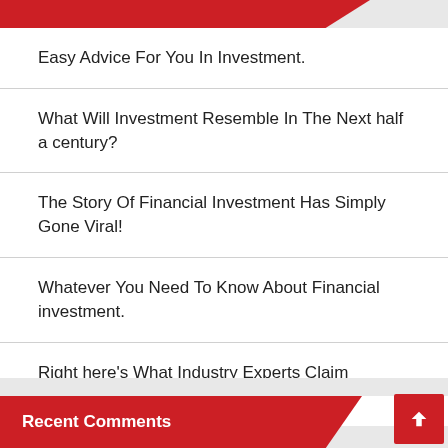Recent Posts
Easy Advice For You In Investment.
What Will Investment Resemble In The Next half a century?
The Story Of Financial Investment Has Simply Gone Viral!
Whatever You Need To Know About Financial investment.
Right here's What Industry Experts Claim Concerning Financing.
Recent Comments